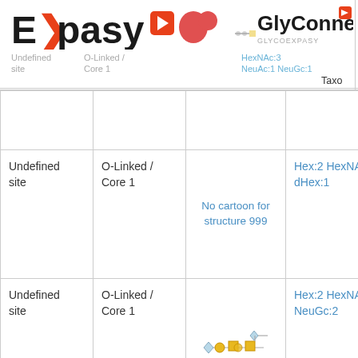[Figure (logo): ExPASy logo with red arrow-E and red square icon]
[Figure (logo): GlyConnect logo with blob icons and GlycoExpasy text]
| Undefined site | O-Linked / Core 1 | (structure) | Hex:2 HexNAc:3 NeuAc:3 | NeuAc:1 NeuGc:1 | Taxo |
| --- | --- | --- | --- | --- | --- |
|  |  |  |  |  |  |
| Undefined site | O-Linked / Core 1 | No cartoon for structure 999 | Hex:2 HexNAc:2 dHex:1 |  |  |
| Undefined site | O-Linked / Core 1 | (glycan diagram) | Hex:2 HexNAc:3 NeuGc:2 |  |  |
| Undefined site | O-Linked / Core 2 | (glycan diagram) | HexNAc:1 NeuGc:2 |  |  |